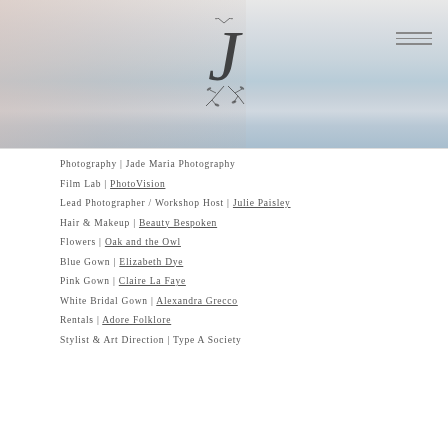[Figure (photo): Header image of a bride with flowers, soft pastel blue and pink tones, with a decorative J monogram logo in the center and hamburger menu icon in the top right]
Photography | Jade Maria Photography
Film Lab | PhotoVision
Lead Photographer / Workshop Host | Julie Paisley
Hair & Makeup | Beauty Bespoken
Flowers | Oak and the Owl
Blue Gown | Elizabeth Dye
Pink Gown | Claire La Faye
White Bridal Gown | Alexandra Grecco
Rentals | Adore Folklore
Stylist & Art Direction | Type A Society